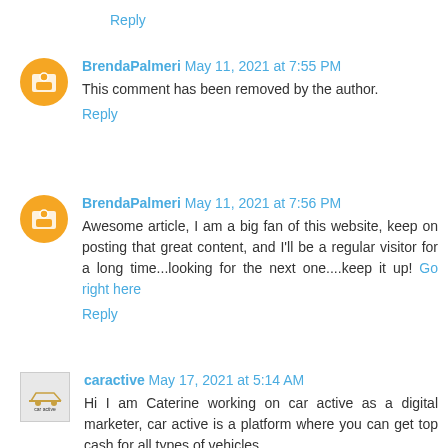Reply
BrendaPalmeri May 11, 2021 at 7:55 PM
This comment has been removed by the author.
Reply
BrendaPalmeri May 11, 2021 at 7:56 PM
Awesome article, I am a big fan of this website, keep on posting that great content, and I'll be a regular visitor for a long time...looking for the next one....keep it up! Go right here
Reply
caractive May 17, 2021 at 5:14 AM
Hi I am Caterine working on car active as a digital marketer, car active is a platform where you can get top cash for all types of vehicles.